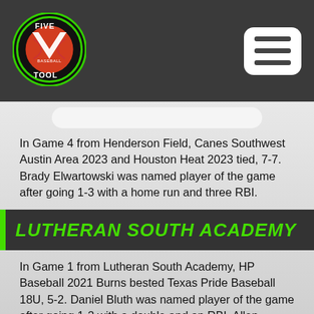[Figure (logo): Five Tool Baseball circular logo with green and black design, featuring a 'V' shape and baseball graphic, text reads FIVE TOOL BASEBALL]
[Figure (other): White rounded rectangle menu/hamburger button icon with three horizontal bars]
In Game 4 from Henderson Field, Canes Southwest Austin Area 2023 and Houston Heat 2023 tied, 7-7. Brady Elwartowski was named player of the game after going 1-3 with a home run and three RBI.
LUTHERAN SOUTH ACADEMY
In Game 1 from Lutheran South Academy, HP Baseball 2021 Burns bested Texas Pride Baseball 18U, 5-2. Daniel Bluth was named player of the game after going 1-2 with a double and an RBI. Allen Bocanegra earned